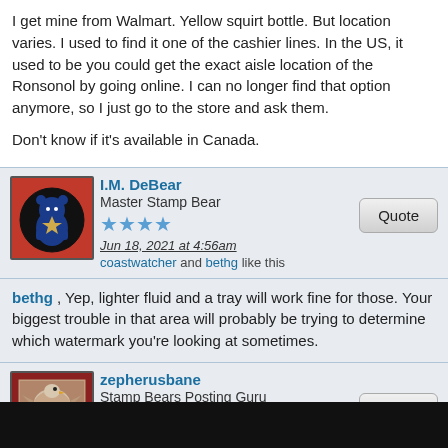I get mine from Walmart. Yellow squirt bottle. But location varies. I used to find it one of the cashier lines. In the US, it used to be you could get the exact aisle location of the Ronsonol by going online. I can no longer find that option anymore, so I just go to the store and ask them.

Don't know if it's available in Canada.
I.M. DeBear — Master Stamp Bear — Jun 18, 2021 at 4:56am — coastwatcher and bethg like this
bethg , Yep, lighter fluid and a tray will work fine for those. Your biggest trouble in that area will probably be trying to determine which watermark you're looking at sometimes.
zepherusbane — Stamp Bears Posting Guru — Jun 18, 2021 at 1:13pm — khj, coastwatcher, and 1 more like this
bethg, I too only use lighter fluid and a black tray. I put the stamps face down in the tray, then drip enough lighter fluid on it to get it wet, then look